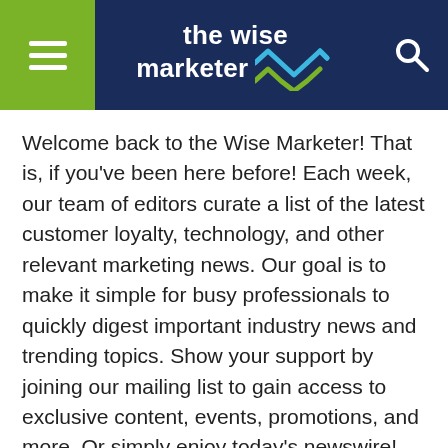the wise marketer
Welcome back to the Wise Marketer! That is, if you've been here before! Each week, our team of editors curate a list of the latest customer loyalty, technology, and other relevant marketing news. Our goal is to make it simple for busy professionals to quickly digest important industry news and trending topics. Show your support by joining our mailing list to gain access to exclusive content, events, promotions, and more. Or simply enjoy today's newswire!
SUBSCRIBE TO OUR NEWSLETTER
TravelCenters of America celebrates 50th anniversary with new promotion for loyalty members